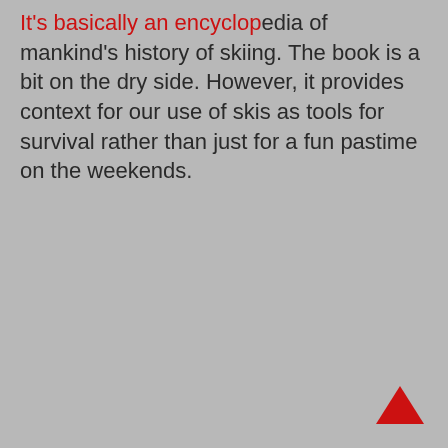It's basically an encyclopedia of mankind's history of skiing. The book is a bit on the dry side. However, it provides context for our use of skis as tools for survival rather than just for a fun pastime on the weekends.